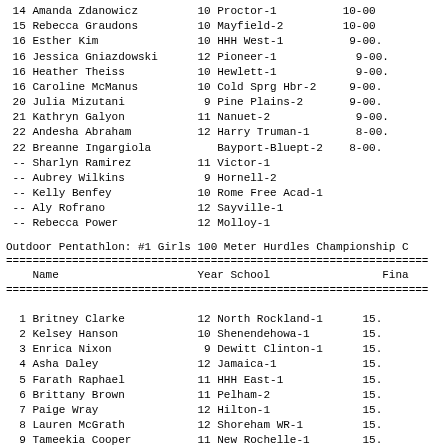14 Amanda Zdanowicz         10 Proctor-1          10-00
15 Rebecca Graudons         10 Mayfield-2          10-00
16 Esther Kim               10 HHH West-1           9-00
16 Jessica Gniazdowski      12 Pioneer-1             9-00
16 Heather Theiss           10 Hewlett-1             9-00
16 Caroline McManus         10 Cold Sprg Hbr-2      9-00
20 Julia Mizutani            9 Pine Plains-2        9-00
21 Kathryn Galyon           11 Nanuet-2              9-00
22 Andesha Abraham          12 Harry Truman-1        8-00
22 Breanne Ingargiola          Bayport-Bluept-2     8-00
-- Sharlyn Ramirez          11 Victor-1
-- Aubrey Wilkins            9 Hornell-2
-- Kelly Benfey             10 Rome Free Acad-1
-- Aly Rofrano              12 Sayville-1
-- Rebecca Power            12 Molloy-1
Outdoor Pentathlon: #1 Girls 100 Meter Hurdles Championship C
| Name | Year | School | Finals |
| --- | --- | --- | --- |
| Britney Clarke | 12 | North Rockland-1 | 15. |
| Kelsey Hanson | 10 | Shenendehowa-1 | 15. |
| Enrica Nixon | 9 | Dewitt Clinton-1 | 15. |
| Asha Daley | 12 | Jamaica-1 | 15. |
| Farath Raphael | 11 | HHH East-1 | 15. |
| Brittany Brown | 11 | Pelham-2 | 15. |
| Paige Wray | 12 | Hilton-1 | 15. |
| Lauren McGrath | 12 | Shoreham WR-1 | 15. |
| Tameekia Cooper | 11 | New Rochelle-1 | 15. |
| Sara Wickes | 10 | Monroe-Woodbury1 | 15. |
| Monique Roberts | 12 | Cicero-N. Syr-1 | 16. |
| Lindsay Sturnick | 11 | Aquinas Inst-1 | 16. |
| Katie Darling | 11 | Delhi-2 | 16. |
| Michelle Rotondo | 9 | Garden City-1 | 16. |
| Morgan Wheeler | 11 | Averill Park-1 | 17. |